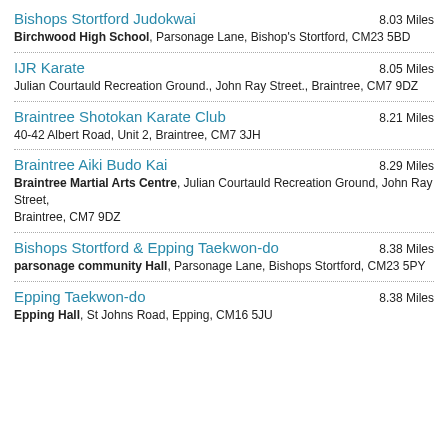Bishops Stortford Judokwai — 8.03 Miles — Birchwood High School, Parsonage Lane, Bishop's Stortford, CM23 5BD
IJR Karate — 8.05 Miles — Julian Courtauld Recreation Ground., John Ray Street., Braintree, CM7 9DZ
Braintree Shotokan Karate Club — 8.21 Miles — 40-42 Albert Road, Unit 2, Braintree, CM7 3JH
Braintree Aiki Budo Kai — 8.29 Miles — Braintree Martial Arts Centre, Julian Courtauld Recreation Ground, John Ray Street, Braintree, CM7 9DZ
Bishops Stortford & Epping Taekwon-do — 8.38 Miles — parsonage community Hall, Parsonage Lane, Bishops Stortford, CM23 5PY
Epping Taekwon-do — 8.38 Miles — Epping Hall, St Johns Road, Epping, CM16 5JU